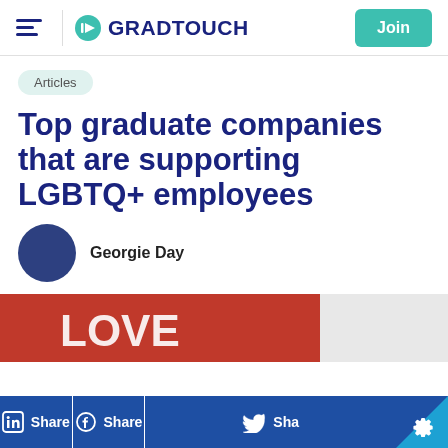GRADTOUCH — Join
Articles
Top graduate companies that are supporting LGBTQ+ employees
Georgie Day
[Figure (photo): Hero image showing a red LOVE sign or banner, partially visible, with white background]
Share | Share | Share